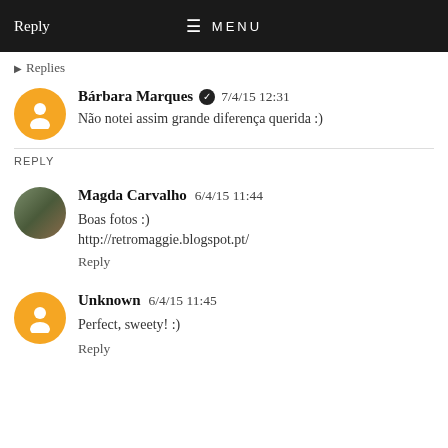Reply  MENU
Replies
Bárbara Marques  7/4/15 12:31
Não notei assim grande diferença querida :)
REPLY
Magda Carvalho  6/4/15 11:44
Boas fotos :)
http://retromaggie.blogspot.pt/
Reply
Unknown  6/4/15 11:45
Perfect, sweety! :)
Reply